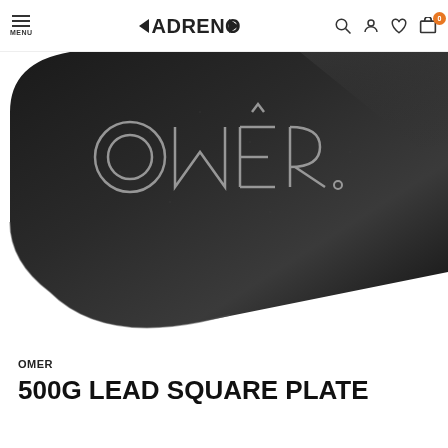MENU | ADRENO | (search) (account) (wishlist) (cart 0)
[Figure (photo): Close-up photo of a black lead weight plate with OMER logo engraved on the surface. The plate is rectangular with rounded corners and a textured matte black finish.]
OMER
500G LEAD SQUARE PLATE